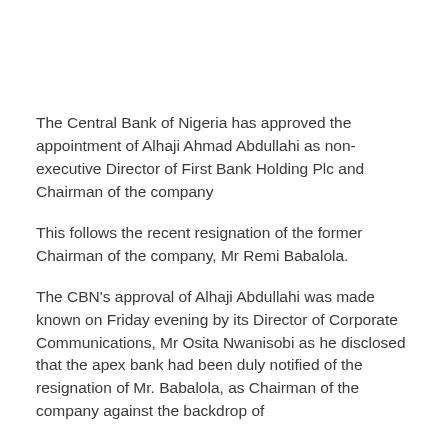The Central Bank of Nigeria has approved the appointment of Alhaji Ahmad Abdullahi as non-executive Director of First Bank Holding Plc and Chairman of the company
This follows the recent resignation of the former Chairman of the company, Mr Remi Babalola.
The CBN's approval of Alhaji Abdullahi was made known on Friday evening by its Director of Corporate Communications, Mr Osita Nwanisobi as he disclosed that the apex bank had been duly notified of the resignation of Mr. Babalola, as Chairman of the company against the backdrop of